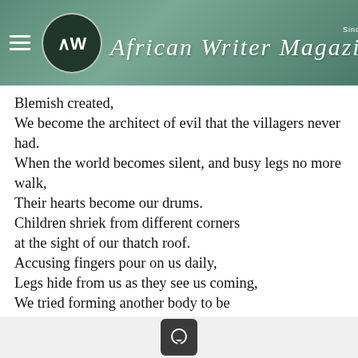African Writer Magazine – Since 2014
Blemish created,
We become the architect of evil that the villagers never had.
When the world becomes silent, and busy legs no more walk,
Their hearts become our drums.
Children shriek from different corners
at the sight of our thatch roof.
Accusing fingers pour on us daily,
Legs hide from us as they see us coming,
We tried forming another body to be
Sane from our unknown sins,
But our bones, tissues, muscles, veins sailed away from their roots.
These are our scars.